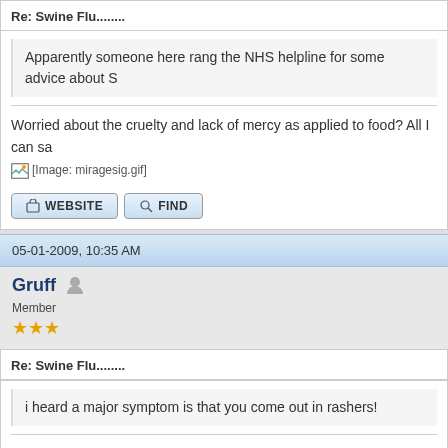Re: Swine Flu........
Apparently someone here rang the NHS helpline for some advice about S
Worried about the cruelty and lack of mercy as applied to food? All I can sa
[Image: miragesig.gif]
WEBSITE   FIND
05-01-2009, 10:35 AM
Gruff
Member
★★★
Re: Swine Flu........
i heard a major symptom is that you come out in rashers!
See, the bright light... it ain't heaven, son. It's just a muzzle flare
[Figure (photo): Dark background with large white bold text/letters visible at the bottom of the page]